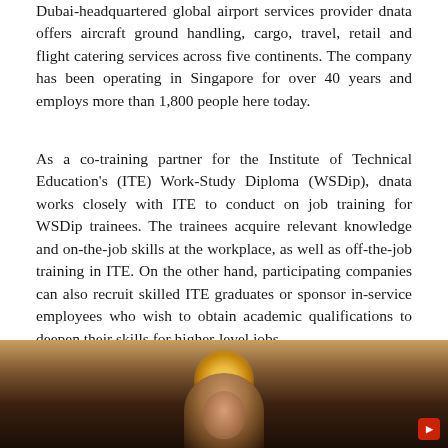Dubai-headquartered global airport services provider dnata offers aircraft ground handling, cargo, travel, retail and flight catering services across five continents. The company has been operating in Singapore for over 40 years and employs more than 1,800 people here today.
As a co-training partner for the Institute of Technical Education's (ITE) Work-Study Diploma (WSDip), dnata works closely with ITE to conduct on job training for WSDip trainees. The trainees acquire relevant knowledge and on-the-job skills at the workplace, as well as off-the-job training in ITE. On the other hand, participating companies can also recruit skilled ITE graduates or sponsor in-service employees who wish to obtain academic qualifications to deepen their skills for higher-level jobs.
[Figure (photo): Photo of a person at what appears to be a catering or food service environment, with warm ambient lighting in the background]